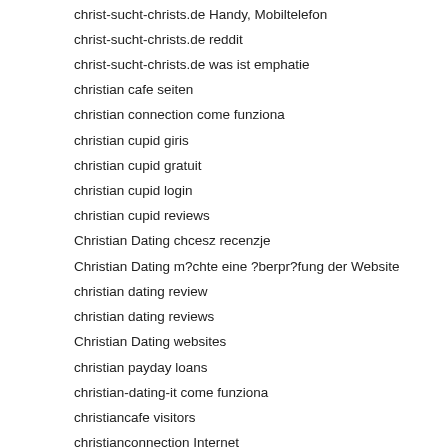christ-sucht-christs.de Handy, Mobiltelefon
christ-sucht-christs.de reddit
christ-sucht-christs.de was ist emphatie
christian cafe seiten
christian connection come funziona
christian cupid giris
christian cupid gratuit
christian cupid login
christian cupid reviews
Christian Dating chcesz recenzje
Christian Dating m?chte eine ?berpr?fung der Website
christian dating review
christian dating reviews
Christian Dating websites
christian payday loans
christian-dating-it come funziona
christiancafe visitors
christianconnection Internet